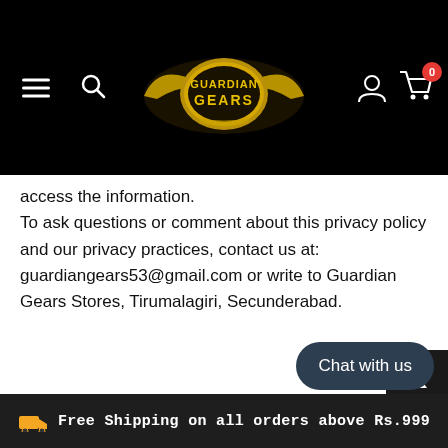Guardian Gears — navigation header with menu, search, logo, account, and cart icons
access the information.
To ask questions or comment about this privacy policy and our privacy practices, contact us at: guardiangears53@gmail.com or write to Guardian Gears Stores, Tirumalagiri, Secunderabad.
Chat with us
Free Shipping on all orders above Rs.999